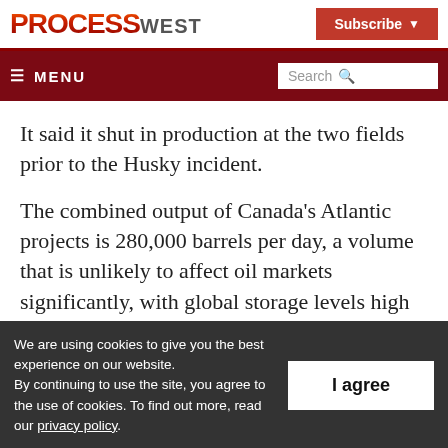PROCESS WEST
≡ MENU | Search
It said it shut in production at the two fields prior to the Husky incident.
The combined output of Canada's Atlantic projects is 280,000 barrels per day, a volume that is unlikely to affect oil markets significantly, with global storage levels high
We are using cookies to give you the best experience on our website. By continuing to use the site, you agree to the use of cookies. To find out more, read our privacy policy.